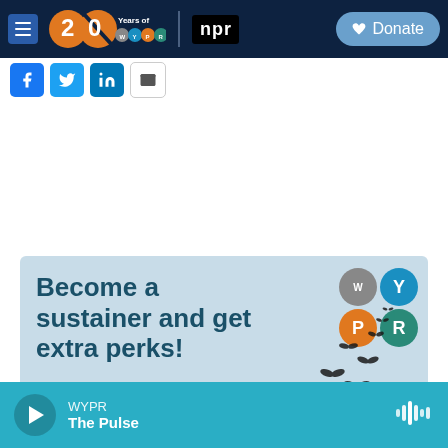[Figure (screenshot): WYPR 20 Years navigation bar with hamburger menu, WYPR 20th anniversary logo, NPR logo, and Donate button on dark navy background]
[Figure (screenshot): Social sharing buttons: Facebook (blue), Twitter (blue), LinkedIn (blue), Email (white)]
[Figure (infographic): WYPR promotional banner on light blue background with text 'Become a sustainer and get extra perks!' alongside WYPR logo circles and butterfly silhouettes]
[Figure (screenshot): Audio player bar in teal with play button, WYPR station name, and 'The Pulse' show title, with audio waveform icon on right]